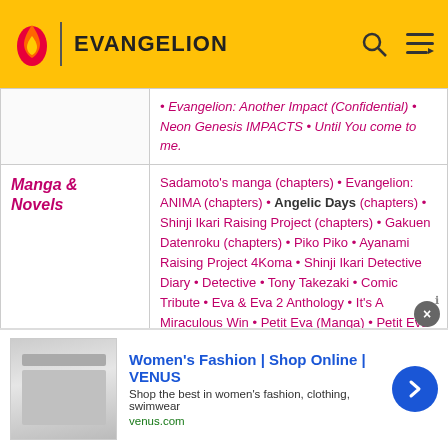EVANGELION
| Category | Content |
| --- | --- |
| (continued) | • Evangelion: Another Impact (Confidential) • Neon Genesis IMPACTS • Until You come to me. |
| Manga & Novels | Sadamoto's manga (chapters) • Evangelion: ANIMA (chapters) • Angelic Days (chapters) • Shinji Ikari Raising Project (chapters) • Gakuen Datenroku (chapters) • Piko Piko • Ayanami Raising Project 4Koma • Shinji Ikari Detective Diary • Detective • Tony Takezaki • Comic Tribute • Eva & Eva 2 Anthology • It's A Miraculous Win • Petit Eva (Manga) • Petit Eva Bokura Tanken Dōkōkai • Transformers Mode "Eva" • Evangelion 3.0 (~120 min.) |
[Figure (infographic): Advertisement banner: Women's Fashion | Shop Online | VENUS. Shop the best in women's fashion, clothing, swimwear. venus.com]